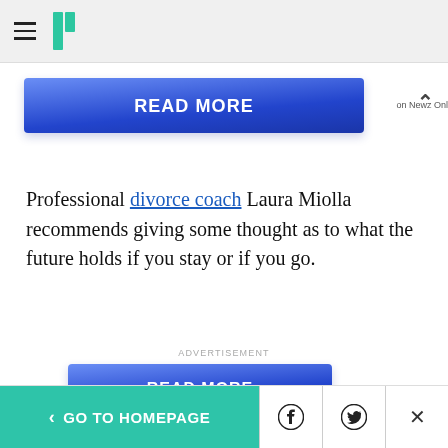HuffPost navigation header with hamburger menu and logo
[Figure (screenshot): READ MORE button advertisement on Newz Online — blue gradient button with white bold text]
Professional divorce coach Laura Miolla recommends giving some thought as to what the future holds if you stay or if you go.
ADVERTISEMENT
[Figure (screenshot): READ MORE button advertisement on Newz Online — blue gradient button with white bold text]
< GO TO HOMEPAGE | Facebook | Twitter | X